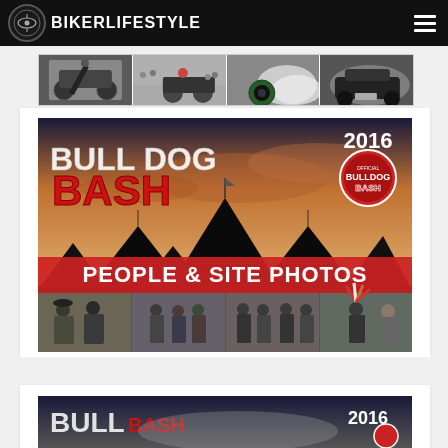BIKERLIFESTYLE
[Figure (photo): Motorcycle stunt and burn-out photo strip with four images side by side]
[Figure (photo): Bulldog Bash 2016 promotional image showing festival tents at dusk with text 'BULLDOG BASH' and '2016', subtitle 'PEOPLE & SITE PHOTOS', with people photos at bottom]
[Figure (photo): Partial view of another Bulldog Bash 2016 image at the bottom of the page]